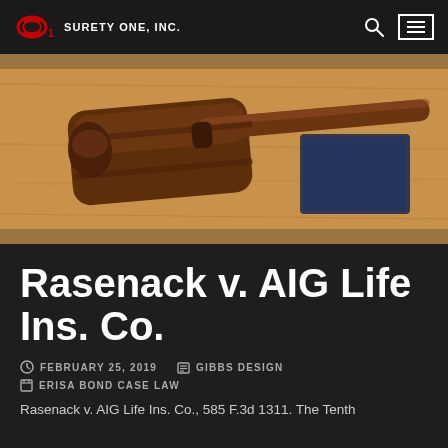SURETY ONE, INC.
[Figure (photo): A wooden gavel resting on a wooden surface next to what appears to be a blue/black book or case, photographed from above.]
Rasenack v. AIG Life Ins. Co.
FEBRUARY 25, 2019   GIBBS DESIGN   ERISA BOND CASE LAW
Rasenack v. AIG Life Ins. Co., 585 F.3d 1311. The Tenth